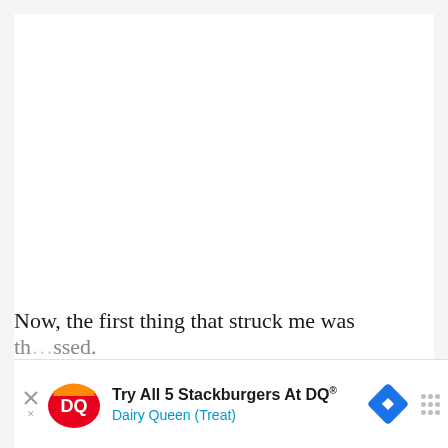[Figure (other): Large white rectangular area, mostly blank/empty content area]
Now, the first thing that struck me was
th…ssed.
[Figure (other): Advertisement banner for Dairy Queen featuring DQ logo, text 'Try All 5 Stackburgers At DQ®' and 'Dairy Queen (Treat)', with a blue diamond arrow icon and menu icon]